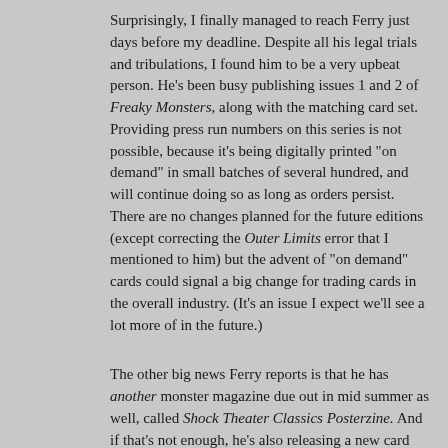Surprisingly, I finally managed to reach Ferry just days before my deadline. Despite all his legal trials and tribulations, I found him to be a very upbeat person. He's been busy publishing issues 1 and 2 of Freaky Monsters, along with the matching card set. Providing press run numbers on this series is not possible, because it's being digitally printed "on demand" in small batches of several hundred, and will continue doing so as long as orders persist. There are no changes planned for the future editions (except correcting the Outer Limits error that I mentioned to him) but the advent of "on demand" cards could signal a big change for trading cards in the overall industry. (It's an issue I expect we'll see a lot more of in the future.)
The other big news Ferry reports is that he has another monster magazine due out in mid summer as well, called Shock Theater Classics Posterzine. And if that's not enough, he's also releasing a new card series to celebrate that magazine as well! (I'll cover it in the next Oddball Monster Card review.) Clearly, Ferry follows the wisdom of Nietzche when it comes to not letting old setbacks slow him down.